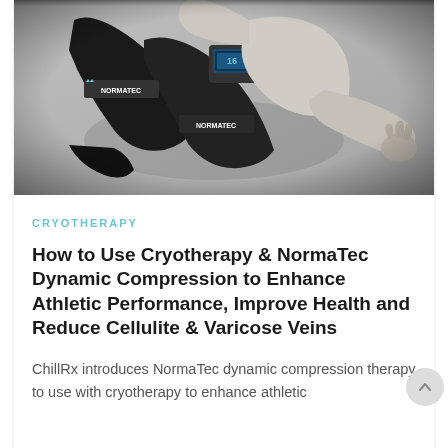[Figure (photo): Black and white overhead photo of a person lying on a concrete floor wearing NormaTec compression leg sleeves, holding a NormaTec controller device. The NormaTec branding is visible on both legs.]
CRYOTHERAPY
How to Use Cryotherapy & NormaTec Dynamic Compression to Enhance Athletic Performance, Improve Health and Reduce Cellulite & Varicose Veins
ChillRx introduces NormaTec dynamic compression therapy to use with cryotherapy to enhance athletic performance, improve health conditions